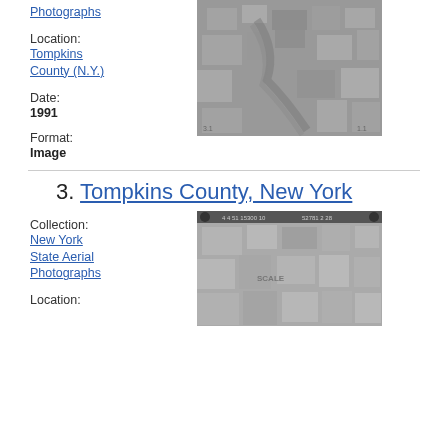Photographs
Location:
Tompkins County (N.Y.)
Date:
1991
Format:
Image
[Figure (photo): Black and white aerial photograph of Tompkins County, NY showing agricultural fields, roads, and a river or stream running through the landscape.]
3.  Tompkins County, New York
Collection:
New York State Aerial Photographs
Location:
[Figure (photo): Black and white aerial photograph showing a wide landscape view of Tompkins County, New York, with agricultural fields and rural patterns visible. Header strip with photographic metadata numbers visible at top.]